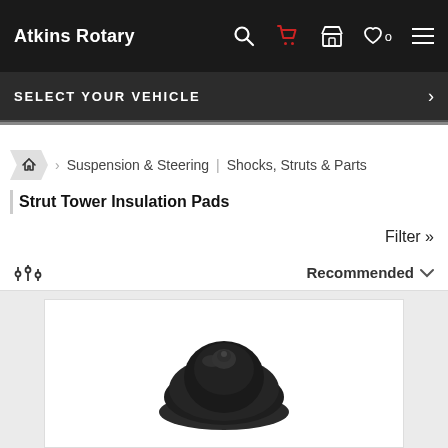Atkins Rotary
SELECT YOUR VEHICLE
Suspension & Steering | Shocks, Struts & Parts | Strut Tower Insulation Pads
Filter »
Recommended
[Figure (photo): Dark rubber strut tower insulation pad product image on white background]